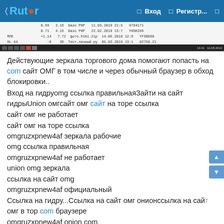Rutor — Вход — Регистр...
[Figure (screenshot): Screenshot of a table/list interface with rows of data and a dark taskbar at the bottom]
Действующие зеркала торгового дома помогают попасть на com сайт ОМГ в том числе и через обычный браузер в обход блокировки..
Вход на гидруomg ссылка правильнаяЗайти на сайт гидрыUnion омгсайт омг сайт на торе ссылка
сайт омг не работает
сайт омг на торе ссылка
omgruzxpnew4af зеркала рабочие
omg ссылка правильная
omgruzxpnew4af не работает
union omg зеркала
ссылка на сайт omg
omgruzxpnew4af официальный
Ссылка на гидру...Ссылка на сайт омг онионссылка на сайт омг в тор com браузере
omgruzxpnew4af onion com
omg ссылка тор